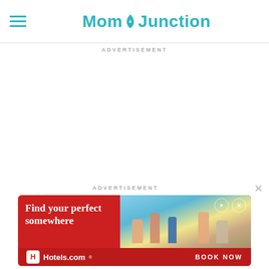MomJunction
ADVERTISEMENT
ADVERTISEMENT
[Figure (screenshot): Hotels.com advertisement banner with red background showing 'Find your perfect somewhere' text, vacation imagery, Hotels.com logo, and BOOK NOW call to action button]